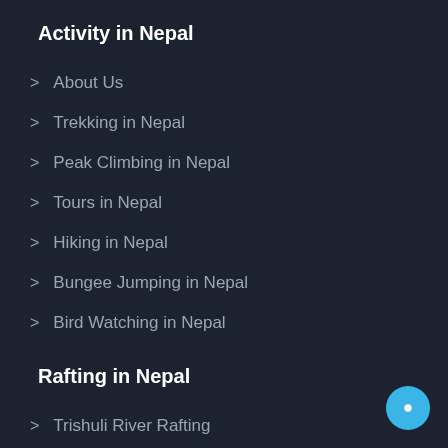Activity in Nepal
> About Us
> Trekking in Nepal
> Peak Climbing in Nepal
> Tours in Nepal
> Hiking in Nepal
> Bungee Jumping in Nepal
> Bird Watching in Nepal
Rafting in Nepal
> Trishuli River Rafting